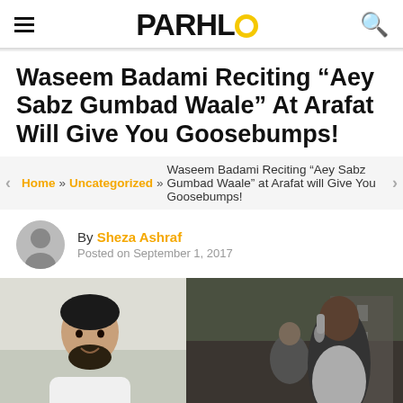PARHLO
Waseem Badami Reciting “Aey Sabz Gumbad Waale” At Arafat Will Give You Goosebumps!
Home » Uncategorized » Waseem Badami Reciting “Aey Sabz Gumbad Waale” at Arafat will Give You Goosebumps!
By Sheza Ashraf
Posted on September 1, 2017
[Figure (photo): Two photos side by side: left shows a man with beard wearing white, right shows a man singing into a microphone with others in background]